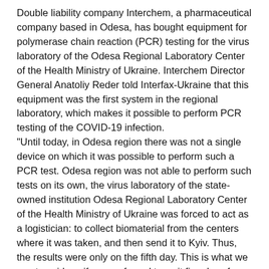Double liability company Interchem, a pharmaceutical company based in Odesa, has bought equipment for polymerase chain reaction (PCR) testing for the virus laboratory of the Odesa Regional Laboratory Center of the Health Ministry of Ukraine. Interchem Director General Anatoliy Reder told Interfax-Ukraine that this equipment was the first system in the regional laboratory, which makes it possible to perform PCR testing of the COVID-19 infection.
"Until today, in Odesa region there was not a single device on which it was possible to perform such a PCR test. Odesa region was not able to perform such tests on its own, the virus laboratory of the state-owned institution Odesa Regional Laboratory Center of the Health Ministry of Ukraine was forced to act as a logistician: to collect biomaterial from the centers where it was taken, and then send it to Kyiv. Thus, the results were only on the fifth day. This is what we must avoid, as if we are forced to wait five days for a response from the laboratory, all other methods of fighting the virus are becoming meaningless," he said.
Reder said that the system for PCR testing has already been installed and began to work.
In addition, Interchem purchased the first batch of tests for this